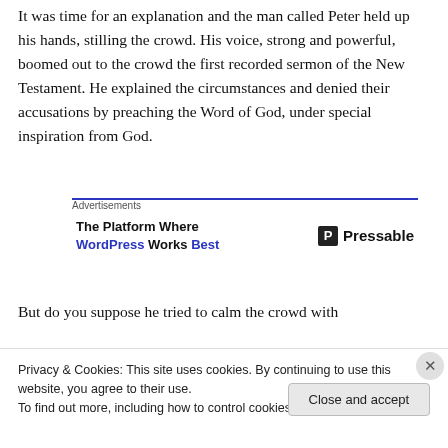It was time for an explanation and the man called Peter held up his hands, stilling the crowd. His voice, strong and powerful, boomed out to the crowd the first recorded sermon of the New Testament. He explained the circumstances and denied their accusations by preaching the Word of God, under special inspiration from God.
[Figure (other): Advertisement block: 'The Platform Where WordPress Works Best' with Pressable logo. Blue horizontal rule at top.]
But do you suppose he tried to calm the crowd with soothing words? No, in fact, he started out by accusing the
Privacy & Cookies: This site uses cookies. By continuing to use this website, you agree to their use.
To find out more, including how to control cookies, see here: Cookie Policy
Close and accept